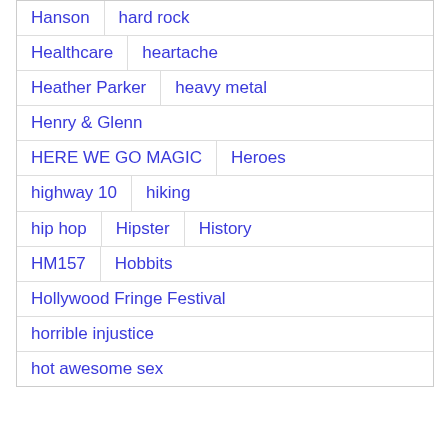Hanson   hard rock
Healthcare   heartache
Heather Parker   heavy metal
Henry & Glenn
HERE WE GO MAGIC   Heroes
highway 10   hiking
hip hop   Hipster   History
HM157   Hobbits
Hollywood Fringe Festival
horrible injustice
hot awesome sex